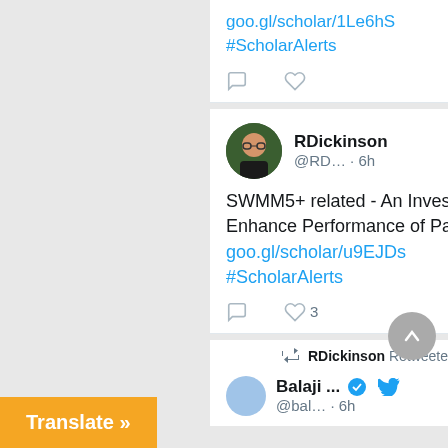goo.gl/scholar/1Le6hS
#ScholarAlerts
RDickinson @RD… · 6h
SWMM5+ related - An Investigation of Network Partitioning to Enhance Performance of Parallelized Drainage Models - goo.gl/scholar/u9EJDs #ScholarAlerts
RDickinson Retweeted
Balaji ... @bal… · 6h
Translate »